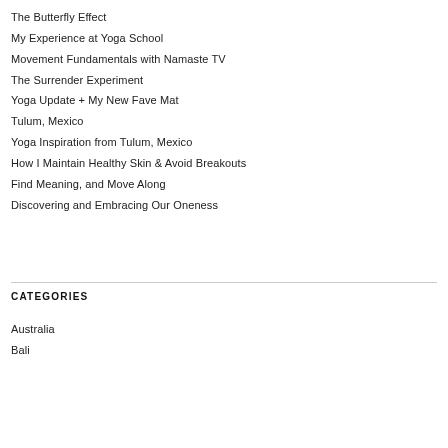The Butterfly Effect
My Experience at Yoga School
Movement Fundamentals with Namaste TV
The Surrender Experiment
Yoga Update + My New Fave Mat
Tulum, Mexico
Yoga Inspiration from Tulum, Mexico
How I Maintain Healthy Skin & Avoid Breakouts
Find Meaning, and Move Along
Discovering and Embracing Our Oneness
CATEGORIES
Australia
Bali